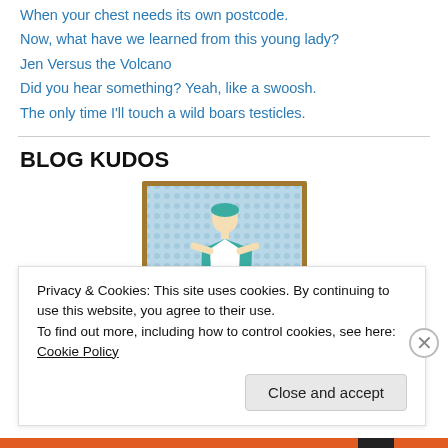When your chest needs its own postcode.
Now, what have we learned from this young lady?
Jen Versus the Volcano
Did you hear something? Yeah, like a swoosh.
The only time I'll touch a wild boars testicles.
BLOG KUDOS
[Figure (illustration): A framed illustration of a cartoon woman in a green outfit holding open her jacket to reveal a banner reading 'T.M.I. Award', set against a blue dotted background with a gold/brown frame.]
Privacy & Cookies: This site uses cookies. By continuing to use this website, you agree to their use.
To find out more, including how to control cookies, see here: Cookie Policy